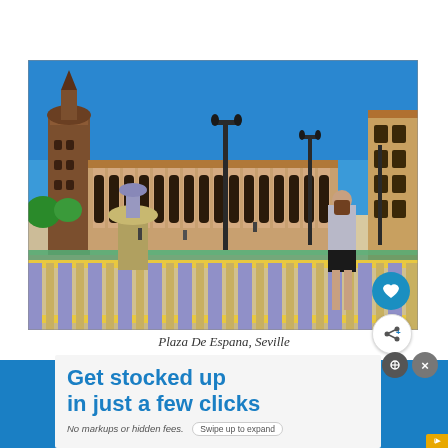[Figure (photo): Photograph of Plaza De Espana in Seville, Spain. Shows an ornate tiled balustrade in the foreground with a young woman leaning on it. Behind are arched colonnades of the semicircular palace building, street lamps, blue sky, and a historic tower on the left. A canal/moat runs along the base of the balustrade.]
Plaza De Espana, Seville
Get stocked up in just a few clicks
No markups or hidden fees. Swipe up to expand